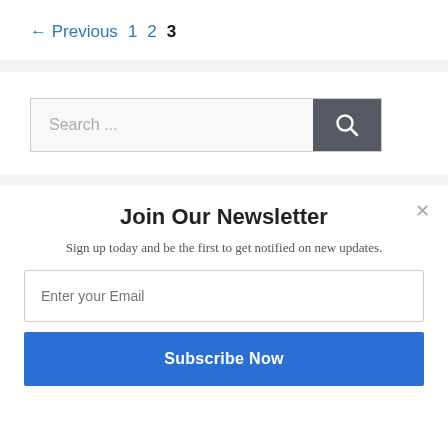← Previous  1  2  3
[Figure (other): Search bar with text input placeholder 'Search ...' and a dark search button with magnifying glass icon]
Join Our Newsletter
Sign up today and be the first to get notified on new updates.
[Figure (other): Email input field with placeholder 'Enter your Email' and a blue 'Subscribe Now' button]